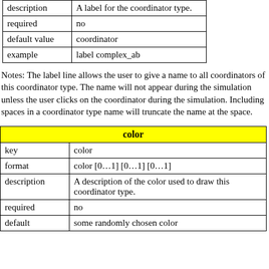| description | A label for the coordinator type. |
| required | no |
| default value | coordinator |
| example | label complex_ab |
Notes: The label line allows the user to give a name to all coordinators of this coordinator type. The name will not appear during the simulation unless the user clicks on the coordinator during the simulation. Including spaces in a coordinator type name will truncate the name at the space.
| color |
| --- |
| key | color |
| format | color [0…1] [0…1] [0…1] |
| description | A description of the color used to draw this coordinator type. |
| required | no |
| default | some randomly chosen color |